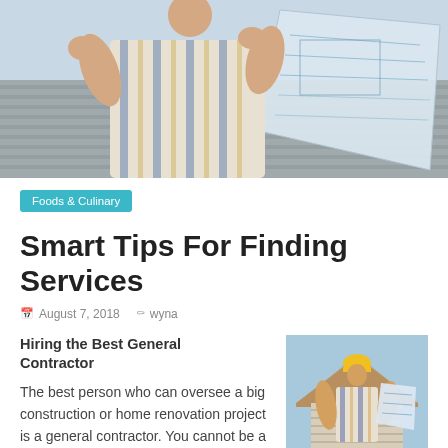[Figure (photo): A person in a striped shirt holding and examining large blueprint/architectural drawings outdoors near a house]
Foods & Culinary
Smart Tips For Finding Services
August 7, 2018  wyna
Hiring the Best General Contractor
The best person who can oversee a big construction or home renovation project is a general contractor. You cannot be a general
[Figure (photo): A contractor in a yellow hard hat and striped shirt holding blueprints/documents, standing in front of a house roof]